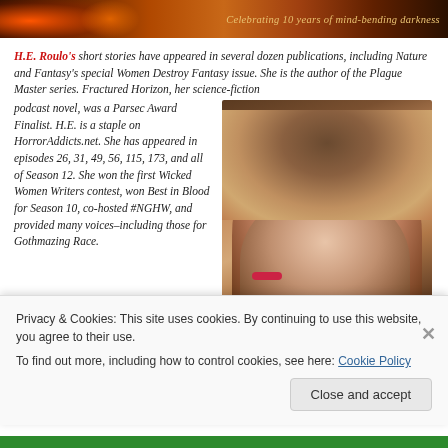Celebrating 10 years of mind-bending darkness
H.E. Roulo's short stories have appeared in several dozen publications, including Nature and Fantasy's special Women Destroy Fantasy issue. She is the author of the Plague Master series. Fractured Horizon, her science-fiction podcast novel, was a Parsec Award Finalist. H.E. is a staple on HorrorAddicts.net. She has appeared in episodes 26, 31, 49, 56, 115, 173, and all of Season 12. She won the first Wicked Women Writers contest, won Best in Blood for Season 10, co-hosted #NGHW, and provided many voices–including those for Gothmazing Race.
[Figure (photo): Portrait photo of H.E. Roulo, a woman with long blonde/brown hair, red lipstick, wearing dark clothing, photographed outdoors with a natural background.]
Privacy & Cookies: This site uses cookies. By continuing to use this website, you agree to their use.
To find out more, including how to control cookies, see here: Cookie Policy
Close and accept